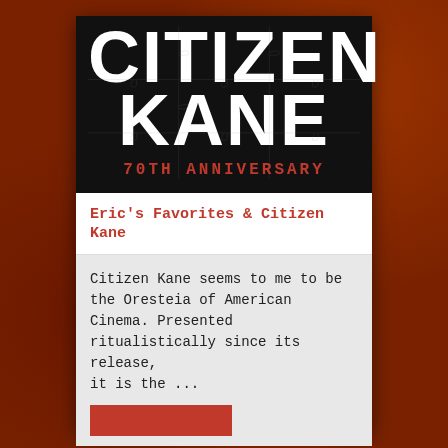[Figure (illustration): Citizen Kane 70th Anniversary movie poster/book cover with large white bold text on black background. The words CITIZEN KANE appear stacked in large Impact font. Below reads '70TH ANNIVERSARY' in red monospace type. A puzzle piece overlay texture is visible. The card sits on a cracked dark red/brown textured background.]
Eric's Favorites & Citizen Kane
Citizen Kane seems to me to be the Oresteia of American Cinema. Presented ritualistically since its release, it is the ...